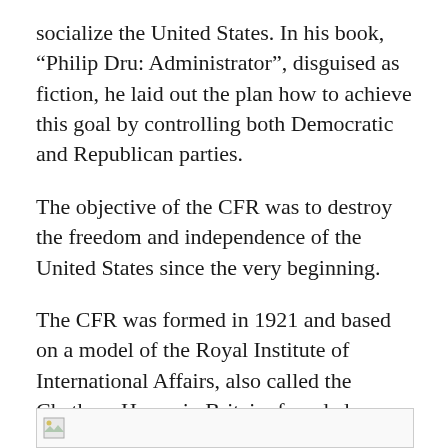socialize the United States. In his book, “Philip Dru: Administrator”, disguised as fiction, he laid out the plan how to achieve this goal by controlling both Democratic and Republican parties.
The objective of the CFR was to destroy the freedom and independence of the United States since the very beginning.
The CFR was formed in 1921 and based on a model of the Royal Institute of International Affairs, also called the Chatham House in Britain, founded a year earlier.
[Figure (other): Partial image visible at the bottom of the page, cut off]